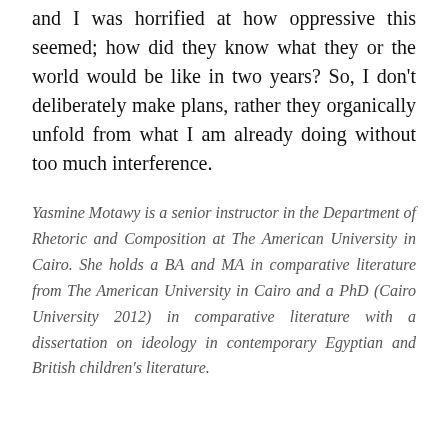and I was horrified at how oppressive this seemed; how did they know what they or the world would be like in two years? So, I don't deliberately make plans, rather they organically unfold from what I am already doing without too much interference.
Yasmine Motawy is a senior instructor in the Department of Rhetoric and Composition at The American University in Cairo. She holds a BA and MA in comparative literature from The American University in Cairo and a PhD (Cairo University 2012) in comparative literature with a dissertation on ideology in contemporary Egyptian and British children's literature.